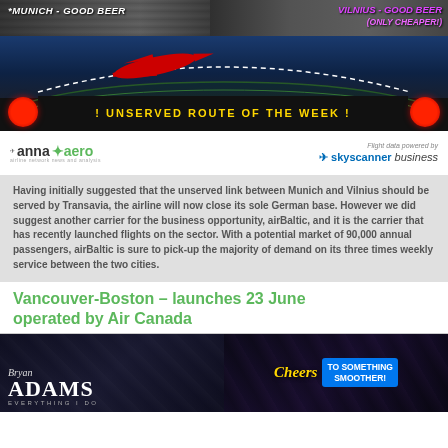[Figure (infographic): Unserved Route of the Week banner: Munich - Good Beer vs Vilnius - Good Beer (Only Cheaper!) with red airplane route arc, anna.aero logo and Skyscanner business branding]
Having initially suggested that the unserved link between Munich and Vilnius should be served by Transavia, the airline will now close its sole German base. However we did suggest another carrier for the business opportunity, airBaltic, and it is the carrier that has recently launched flights on the sector. With a potential market of 90,000 annual passengers, airBaltic is sure to pick-up the majority of demand on its three times weekly service between the two cities.
Vancouver-Boston – launches 23 June operated by Air Canada
[Figure (photo): Two promotional images side by side: left shows Bryan Adams Everything I Do concert promo on dark background; right shows Cheers logo with 'To Something Smoother!' text on dark background]